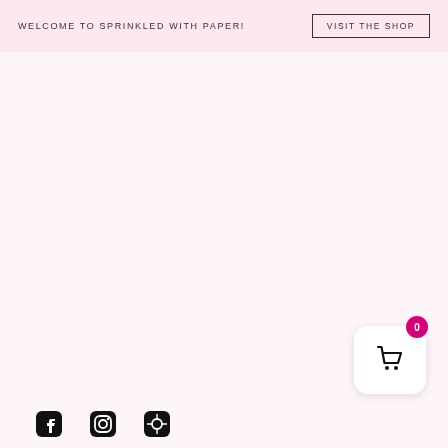WELCOME TO SPRINKLED WITH PAPER!
VISIT THE SHOP
[Figure (other): Shopping cart widget with magenta badge showing 0 items, white rounded square button with basket icon]
[Figure (other): Social media icons (partial) at the bottom of the page]